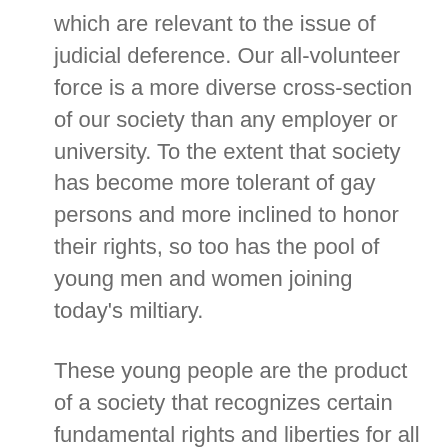which are relevant to the issue of judicial deference. Our all-volunteer force is a more diverse cross-section of our society than any employer or university. To the extent that society has become more tolerant of gay persons and more inclined to honor their rights, so too has the pool of young men and women joining today's miltiary.
These young people are the product of a society that recognizes certain fundamental rights and liberties for all Americans. When they enlist, they choose a life that involves sacrifice and hardship. But they never fully leave behind the values and beliefs they had when they joined the service.
For this reason, deference to military policies that infringe individual liberties on this, and other issues, can create tremendous dissonance between the values of the military and civil society - leading servicepersons to question and doubt the military's institutional values